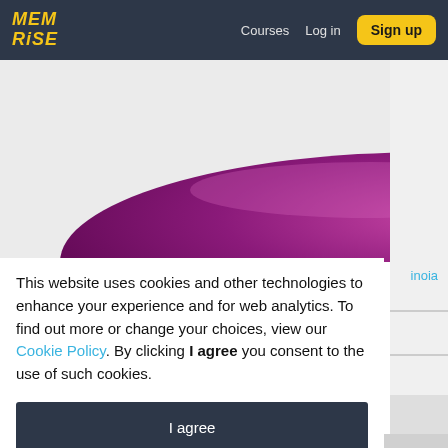MEM RiSE  Courses  Log in  Sign up
[Figure (illustration): Memrise website hero area showing a purple/magenta glossy organic shape against a light grey background]
inoia
This website uses cookies and other technologies to enhance your experience and for web analytics. To find out more or change your choices, view our Cookie Policy. By clicking I agree you consent to the use of such cookies.
I agree